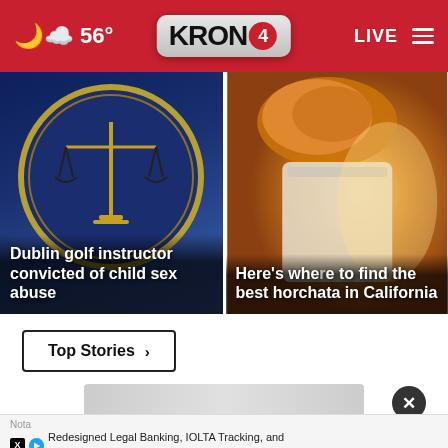56° KRON4 LIVE
[Figure (screenshot): News card: scales of justice badge image with headline 'Dublin golf instructor convicted of child sex abuse']
[Figure (screenshot): News card: horchata drink image with headline 'Here’s where to find the best horchata in California']
Top Stories ›
[Figure (screenshot): Bottom section with close button (X) and advertisement overlay]
Nota
Redesigned Legal Banking, IOLTA Tracking, and siness Checking for Law Firms in One Place